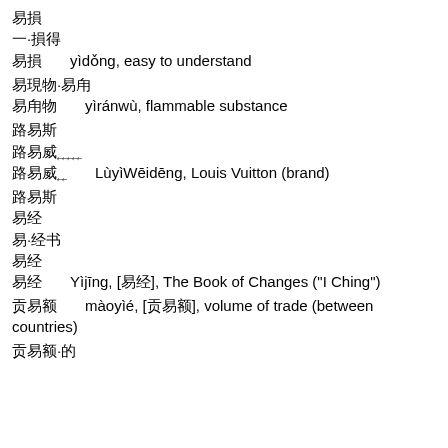易懂
一·懂得
易懂       yìdǒng, easy to understand
易燃物·一燃
易燃物       yìránwù, flammable substance
路易斯
路易威登路
路易威登       LùyìWēidēng, Louis Vuitton (brand)
路易斯
易经
易·经书
易经
易经       Yìjīng, [易经], The Book of Changes ("I Ching")
贸易额       màoyìé, [贸易额], volume of trade (between countries)
贸易额·的